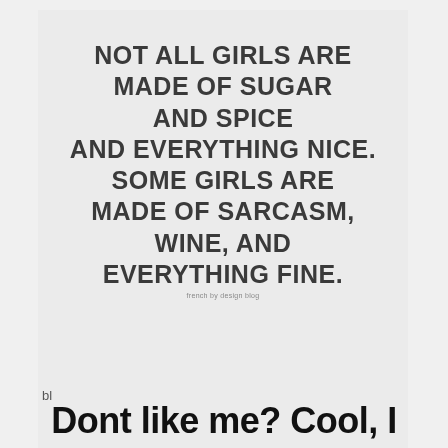[Figure (illustration): Light gray card with bold uppercase quote text: NOT ALL GIRLS ARE MADE OF SUGAR AND SPICE AND EVERYTHING NICE. SOME GIRLS ARE MADE OF SARCASM, WINE, AND EVERYTHING FINE. With a small watermark 'french by design blog'.]
bl
Dont like me? Cool, I do t oke it o er d d y